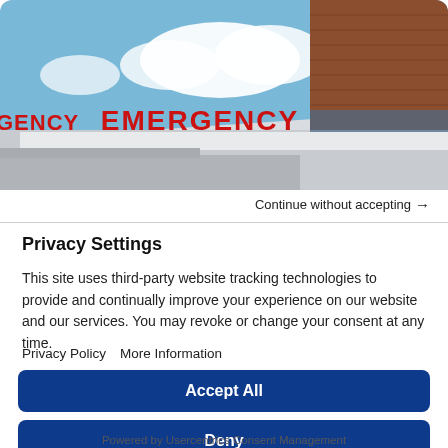[Figure (photo): Hospital emergency entrance exterior with large red EMERGENCY sign on the roof, brick building facade, blue sky with clouds in the background.]
Continue without accepting →
Privacy Settings
This site uses third-party website tracking technologies to provide and continually improve your experience on our website and our services. You may revoke or change your consent at any time.
Privacy Policy   More Information
Accept All
Deny
Powered by Usercentrics Consent Management